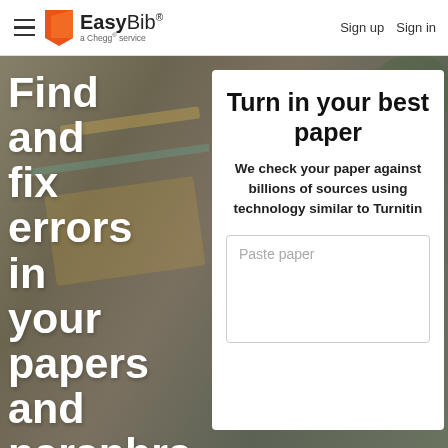EasyBib® a Chegg® service | Sign up  Sign in
Find and fix errors in your papers and paraphra…
Turn in your best paper
We check your paper against billions of sources using technology similar to Turnitin
Paste paper